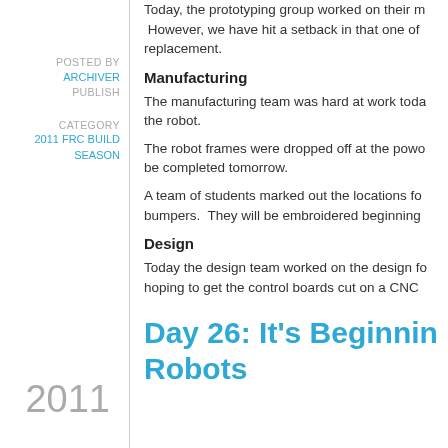Today, the prototyping group worked on their m… However, we have hit a setback in that one of replacement.
POSTED BY
ARCHIVER
PUBLISH
CATEGORY
2011 FRC BUILD SEASON
Manufacturing
The manufacturing team was hard at work toda… the robot.
The robot frames were dropped off at the powo… be completed tomorrow.
A team of students marked out the locations fo… bumpers. They will be embroidered beginning…
Design
Today the design team worked on the design fo… hoping to get the control boards cut on a CNC…
2011
Day 26: It's Beginnin… Robots